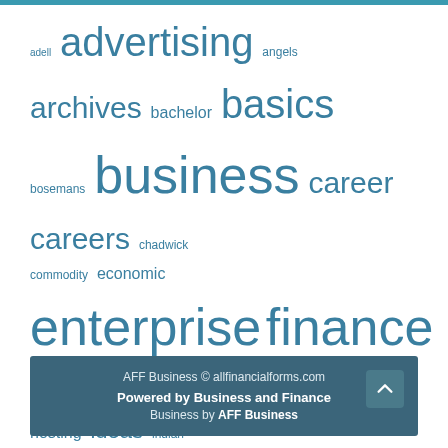[Figure (other): Tag cloud of business and finance related keywords in varying font sizes, displayed in blue/teal color on white background. Words include: adell, advertising, angels, archives, bachelor, basics, bosemans, business, career, careers, chadwick, commodity, economic, enterprise, finance, financial, first, fundamentals, homers, hosting, ideas, indian, information, international, internet, inventory, jason, latest, market, marketing, mcelhinney, monetary, newest, online, ought, sensex, share, small, stock, test8, theme, updates, wordpress, world, yahoo]
AFF Business © allfinancialforms.com
Powered by Business and Finance
Business by AFF Business